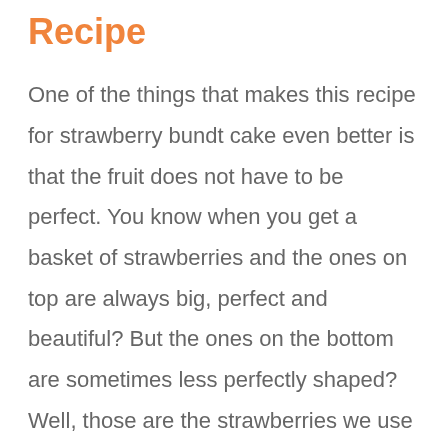Recipe
One of the things that makes this recipe for strawberry bundt cake even better is that the fruit does not have to be perfect. You know when you get a basket of strawberries and the ones on top are always big, perfect and beautiful? But the ones on the bottom are sometimes less perfectly shaped? Well, those are the strawberries we use for this recipe. They are just as delicious, and we're going to cut them up anyway so it doesn't matter what